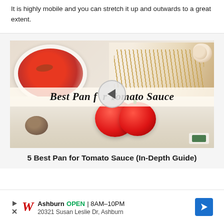It is highly mobile and you can stretch it up and outwards to a great extent.
[Figure (screenshot): Thumbnail image for a video about best pan for tomato sauce, showing a bowl of tomato sauce, pasta, garlic, and fresh tomatoes with a play button overlay and the text 'Best Pan for Tomato Sauce']
5 Best Pan for Tomato Sauce (In-Depth Guide)
Ashburn  OPEN | 8AM–10PM
20321 Susan Leslie Dr, Ashburn